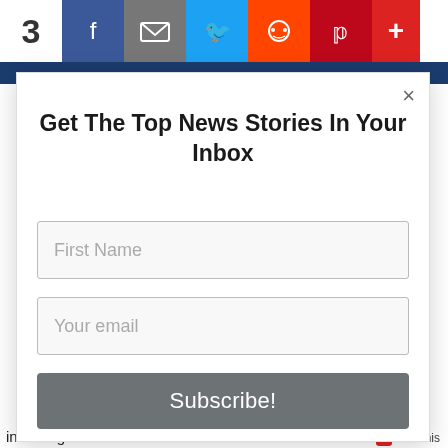[Figure (screenshot): Social sharing bar with number 3, Facebook, email, Twitter, Reddit, Pinterest, and plus icons in colored blocks]
Get The Top News Stories In Your Inbox
[Figure (screenshot): First Name input field placeholder text]
[Figure (screenshot): Your email input field placeholder text]
[Figure (screenshot): Subscribe! button in gray]
including close friend Richard Nixon
AddThis